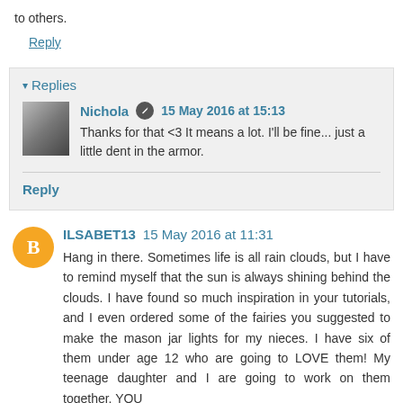to others.
Reply
▾ Replies
Nichola ✎ 15 May 2016 at 15:13
Thanks for that <3 It means a lot. I'll be fine... just a little dent in the armor.
Reply
ILSABET13  15 May 2016 at 11:31
Hang in there. Sometimes life is all rain clouds, but I have to remind myself that the sun is always shining behind the clouds. I have found so much inspiration in your tutorials, and I even ordered some of the fairies you suggested to make the mason jar lights for my nieces. I have six of them under age 12 who are going to LOVE them! My teenage daughter and I are going to work on them together. YOU are the reason that and I are going to work together. YOU